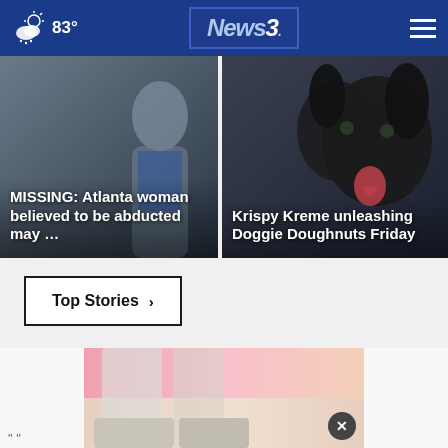83° News 3
[Figure (photo): MISSING: Atlanta woman believed to be abducted may ... — news card with person silhouette]
[Figure (photo): Krispy Kreme unleashing Doggie Doughnuts Friday — news card with dog photo]
Top Stories ›
[Figure (photo): Advertisement image showing shoes/espadrilles on pink and beige background with close button]